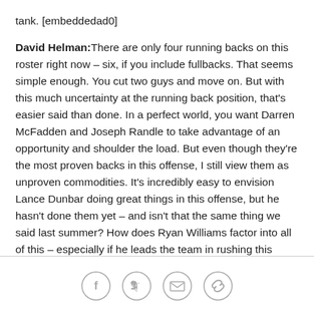tank. [embeddedad0]
David Helman: There are only four running backs on this roster right now – six, if you include fullbacks. That seems simple enough. You cut two guys and move on. But with this much uncertainty at the running back position, that's easier said than done. In a perfect world, you want Darren McFadden and Joseph Randle to take advantage of an opportunity and shoulder the load. But even though they're the most proven backs in this offense, I still view them as unproven commodities. It's incredibly easy to envision Lance Dunbar doing great things in this offense, but he hasn't done them yet – and isn't that the same thing we said last summer? How does Ryan Williams factor into all of this – especially if he leads the team in rushing this
[Figure (other): Social sharing icons: Facebook, Twitter, Email, Link]